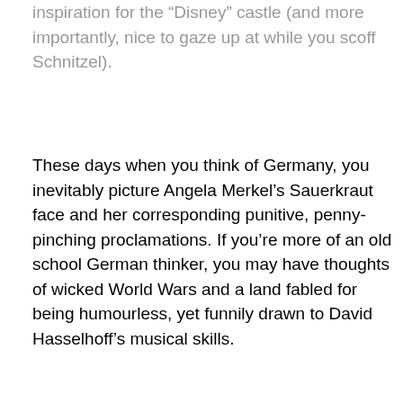inspiration for the “Disney” castle (and more importantly, nice to gaze up at while you scoff Schnitzel).
These days when you think of Germany, you inevitably picture Angela Merkel’s Sauerkraut face and her corresponding punitive, penny-pinching proclamations. If you’re more of an old school German thinker, you may have thoughts of wicked World Wars and a land fabled for being humourless, yet funnily drawn to David Hasselhoff’s musical skills.
But those broad strokes are ultimately unfair to a country, that I believe, is home to some of the great unsung secrets and joys of Europe.
As a teenager I travelled the length of Germany in a camper van with my family. It was a remarkable holiday